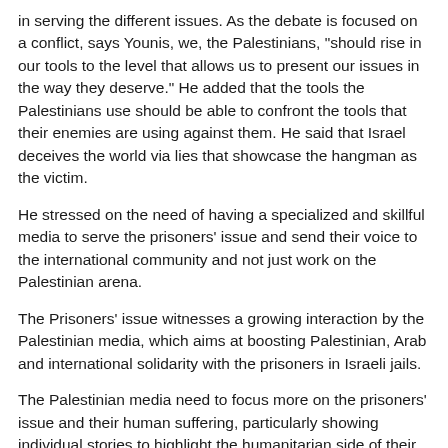in serving the different issues. As the debate is focused on a conflict, says Younis, we, the Palestinians, "should rise in our tools to the level that allows us to present our issues in the way they deserve." He added that the tools the Palestinians use should be able to confront the tools that their enemies are using against them. He said that Israel deceives the world via lies that showcase the hangman as the victim.
He stressed on the need of having a specialized and skillful media to serve the prisoners' issue and send their voice to the international community and not just work on the Palestinian arena.
The Prisoners' issue witnesses a growing interaction by the Palestinian media, which aims at boosting Palestinian, Arab and international solidarity with the prisoners in Israeli jails.
The Palestinian media need to focus more on the prisoners' issue and their human suffering, particularly showing individual stories to highlight the humanitarian side of their cases, according to observers, who also think that there should be a qualitative and creative move in dealing with the prisoners' issues.